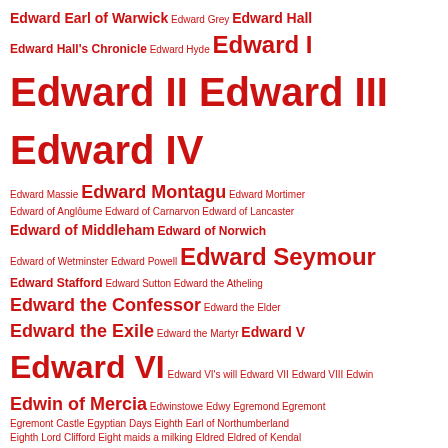Edward Earl of Warwick Edward Grey Edward Hall Edward Hall's Chronicle Edward Hyde Edward I Edward II Edward III Edward IV Edward Massie Edward Montagu Edward Mortimer Edward of Angloume Edward of Carnarvon Edward of Lancaster Edward of Middleham Edward of Norwich Edward of Wetminster Edward Powell Edward Seymour Edward Stafford Edward Sutton Edward the Atheling Edward the Confessor Edward the Elder Edward the Exile Edward the Martyr Edward V Edward VI Edward VI's will Edward VII Edward VIII Edwin Edwin of Mercia Edwinstowe Edwy Egremond Egremont Egremont Castle Egyptian Days Eighth Earl of Northumberland Eighth Lord Clifford Eight maids a milking Eldred Eldred of Kendal Eldred of Workington Eleanor Beauchamp Eleanor Bohun Eleanor Brandon Eleanor Butler Eleanor Clifford